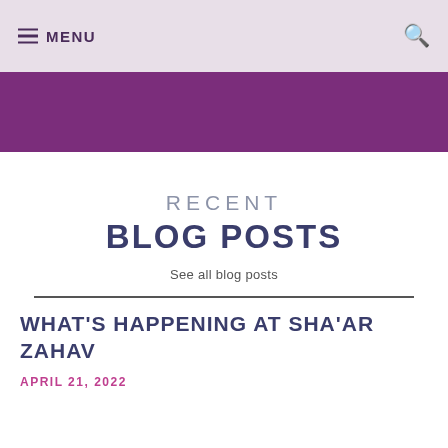≡ MENU
RECENT BLOG POSTS
See all blog posts
WHAT'S HAPPENING AT SHA'AR ZAHAV
APRIL 21, 2022